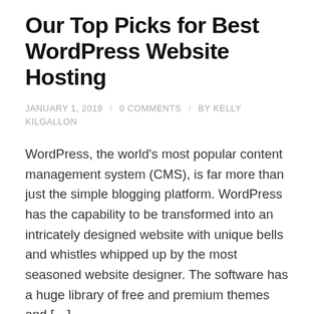Our Top Picks for Best WordPress Website Hosting
JANUARY 1, 2019 / 0 COMMENTS / BY KELLY KILGALLON
WordPress, the world's most popular content management system (CMS), is far more than just the simple blogging platform. WordPress has the capability to be transformed into an intricately designed website with unique bells and whistles whipped up by the most seasoned website designer. The software has a huge library of free and premium themes and […]